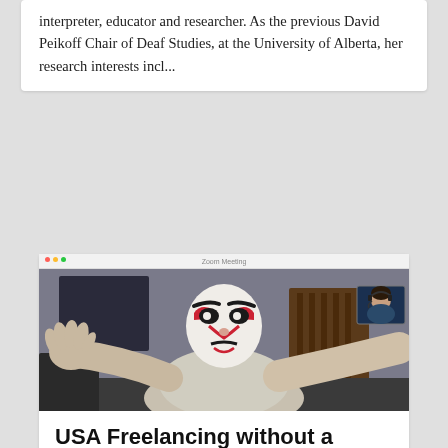interpreter, educator and researcher. As the previous David Peikoff Chair of Deaf Studies, at the University of Alberta, her research interests incl...
[Figure (screenshot): Screenshot of a Zoom video call showing a person wearing a kabuki-style theatrical face mask with white paint and red/black markings, wearing a grey t-shirt, arms outstretched. A small thumbnail of another participant (woman with headset) is visible in the top right corner.]
USA Freelancing without a Parachute #6 – Exciting, Yet Hazy Future